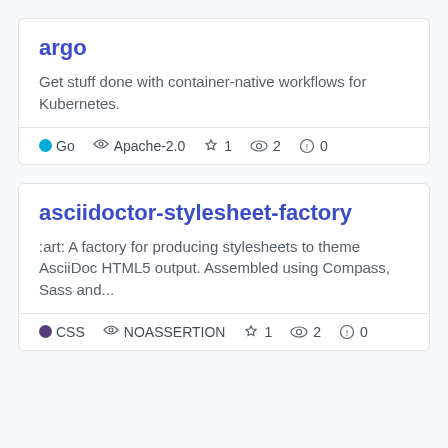argo
Get stuff done with container-native workflows for Kubernetes.
Go  Apache-2.0  ★ 1  👁 2  ⚠ 0
asciidoctor-stylesheet-factory
:art: A factory for producing stylesheets to theme AsciiDoc HTML5 output. Assembled using Compass, Sass and...
CSS  NOASSERTION  ★ 1  👁 2  ⚠ 0